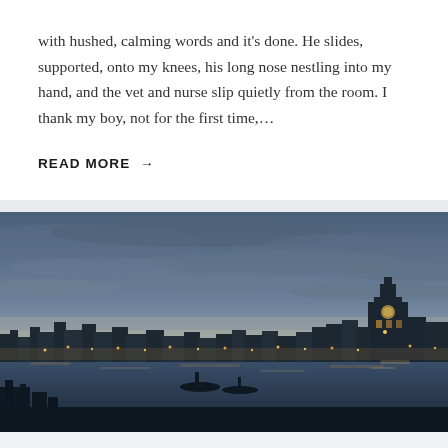with hushed, calming words and it's done. He slides, supported, onto my knees, his long nose nestling into my hand, and the vet and nurse slip quietly from the room. I thank my boy, not for the first time,…
READ MORE →
[Figure (photo): Dusk/twilight cityscape panorama showing a waterfront with city lights reflected on calm water. A prominent clock tower building is visible on the right side. Dramatic cloudy sky with blue and orange hues at twilight.]